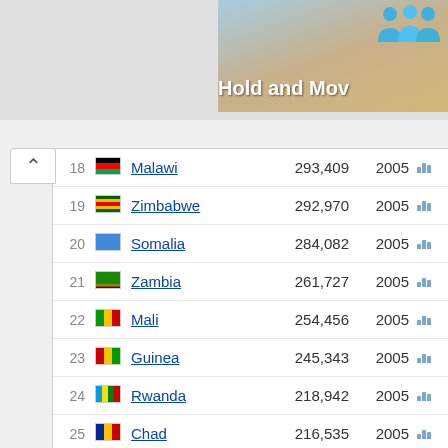[Figure (screenshot): Top banner with 'Hold and Mo...' text and person icons on a sandy/blue background]
| Rank | Flag | Country | Value | Year | Chart |
| --- | --- | --- | --- | --- | --- |
| 18 |  | Malawi | 293,409 | 2005 |  |
| 19 |  | Zimbabwe | 292,970 | 2005 |  |
| 20 |  | Somalia | 284,082 | 2005 |  |
| 21 |  | Zambia | 261,727 | 2005 |  |
| 22 |  | Mali | 254,456 | 2005 |  |
| 23 |  | Guinea | 245,343 | 2005 |  |
| 24 |  | Rwanda | 218,942 | 2005 |  |
| 25 |  | Chad | 216,535 | 2005 |  |
| 26 |  | Benin | 205,812 | 2005 |  |